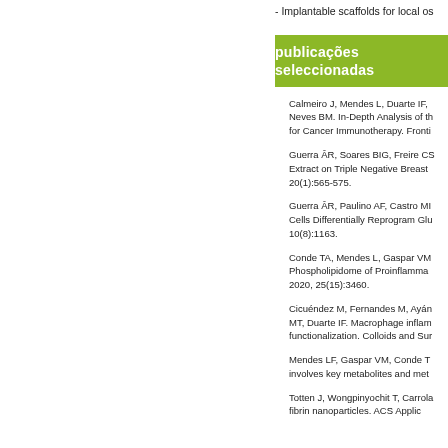- Implantable scaffolds for local os
publicações seleccionadas
Calmeiro J, Mendes L, Duarte IF, Neves BM. In-Depth Analysis of th for Cancer Immunotherapy. Fronti
Guerra ÂR, Soares BIG, Freire CS Extract on Triple Negative Breast 20(1):565-575.
Guerra ÂR, Paulino AF, Castro MI Cells Differentially Reprogram Glu 10(8):1163.
Conde TA, Mendes L, Gaspar VM Phospholipidome of Proinflamma 2020, 25(15):3460.
Cicuéndez M, Fernandes M, Ayár MT, Duarte IF. Macrophage inflam functionalization. Colloids and Sur
Mendes LF, Gaspar VM, Conde T involves key metabolites and met
Totten J, Wongpinyochit T, Carrola fibrin nanoparticles. ACS Applic